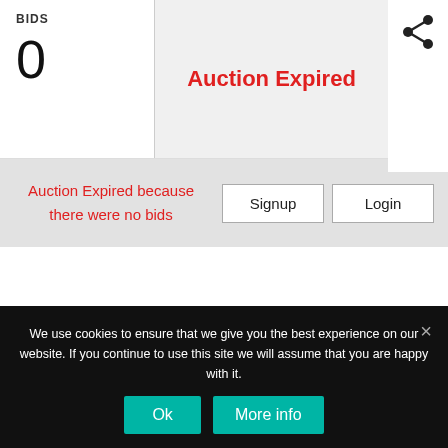BIDS
0
Auction Expired
[Figure (other): Share icon (three connected circles)]
Auction Expired because there were no bids
Signup
Login
We use cookies to ensure that we give you the best experience on our website. If you continue to use this site we will assume that you are happy with it.
Ok
More info